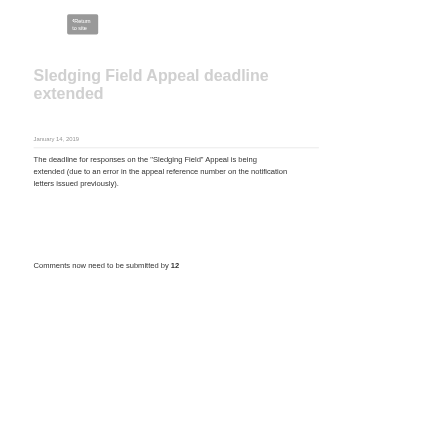Return to site
Sledging Field Appeal deadline extended
January 14, 2019
The deadline for responses on the "Sledging Field" Appeal is being extended (due to an error in the appeal reference number on the notification letters issued previously).
Comments now need to be submitted by 12